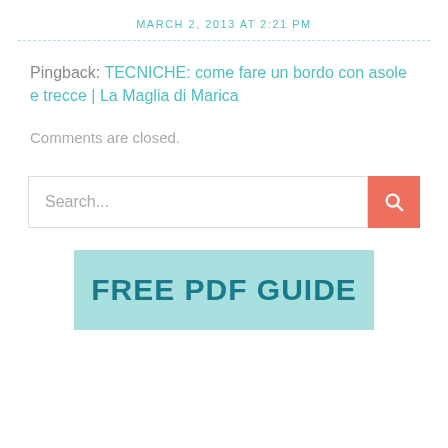MARCH 2, 2013 AT 2:21 PM
Pingback: TECNICHE: come fare un bordo con asole e trecce | La Maglia di Marica
Comments are closed.
[Figure (other): Search bar with text input placeholder 'Search...' and a coral/salmon colored search button with magnifying glass icon]
[Figure (other): Light teal/aqua banner with bold dark teal text reading 'FREE PDF GUIDE']